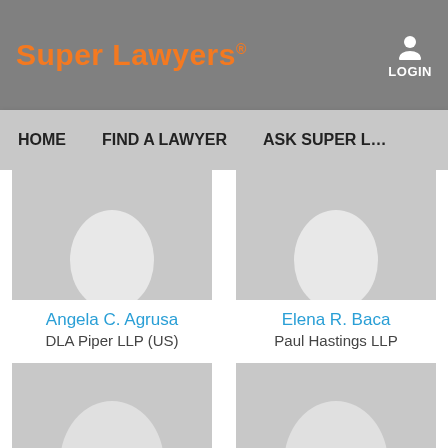Super Lawyers
LOGIN
HOME    FIND A LAWYER    ASK SUPER L…
[Figure (photo): Placeholder silhouette portrait for Angela C. Agrusa]
Angela C. Agrusa
DLA Piper LLP (US)
[Figure (photo): Placeholder silhouette portrait for Elena R. Baca]
Elena R. Baca
Paul Hastings LLP
[Figure (photo): Placeholder silhouette portrait (lower left)]
[Figure (photo): Placeholder silhouette portrait (lower right)]